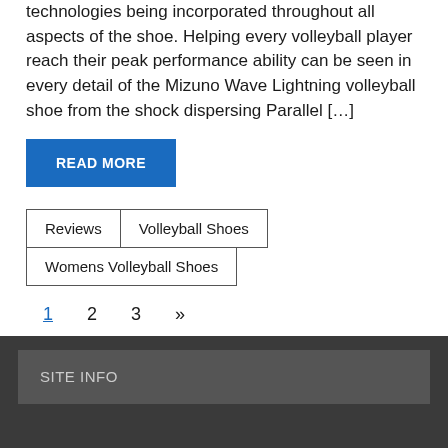technologies being incorporated throughout all aspects of the shoe. Helping every volleyball player reach their peak performance ability can be seen in every detail of the Mizuno Wave Lightning volleyball shoe from the shock dispersing Parallel […]
READ MORE
Reviews
Volleyball Shoes
Womens Volleyball Shoes
1  2  3  »
SITE INFO